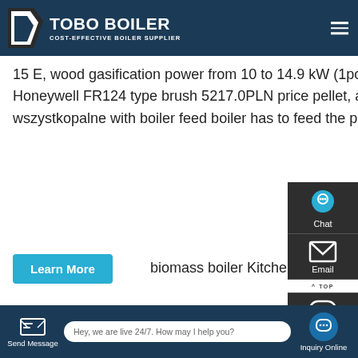TOBO BOILER — COST-EFFECTIVE BOILER SUPPLIER
moederhaard: Boiler for wood atmos DC 15 E, wood gasification power from 10 to 14.9 kW (1pc) (Mora) Standard equipment: fan, air flow regulator Honeywell FR124 type brush 5217.0PLN price pellet, and gas and oil boilers for wood, pellet, coal boiler wszystkopalne with boiler feed boiler has to feed the pellet boiler, biomass boiler Kitchen
[Figure (screenshot): Industrial boiler room photo showing large cylindrical boiler with pipes and overhead structure]
Send Message | Hey, we are live 24/7. How may I help you? | Inquiry Online